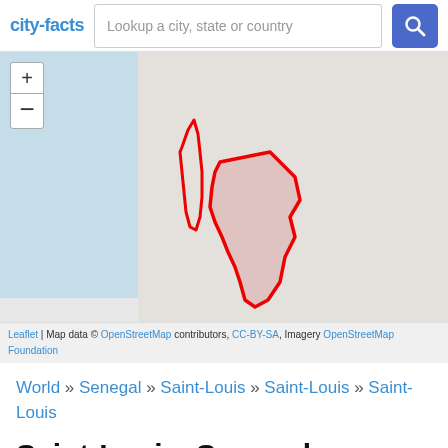city-facts | Lookup a city, state or country
[Figure (map): Interactive map showing the Saint-Louis region of Senegal highlighted in pink/red outline, with a water body (ocean/river) on the left side in blue-grey. Zoom controls (+/-) visible top left. Two outlined shapes in red: a narrow elongated island shape and a larger irregular polygon representing Saint-Louis territory.]
Leaflet | Map data © OpenStreetMap contributors, CC-BY-SA, Imagery OpenStreetMap Foundation
World » Senegal » Saint-Louis » Saint-Louis » Saint-Louis
Saint-Louis, Senegal